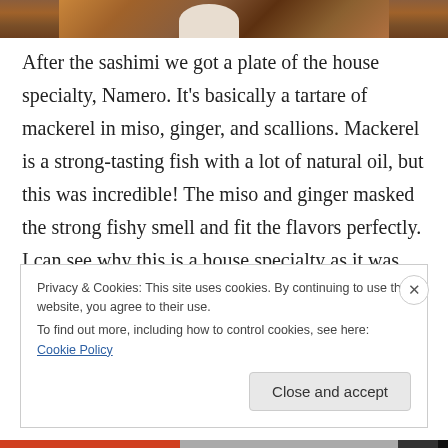[Figure (photo): Partial image of a wooden surface or food item with warm brown tones, showing only the bottom strip of the image.]
After the sashimi we got a plate of the house specialty, Namero. It's basically a tartare of mackerel in miso, ginger, and scallions. Mackerel is a strong-tasting fish with a lot of natural oil, but this was incredible! The miso and ginger masked the strong fishy smell and fit the flavors perfectly. I can see why this is a house specialty as it was probably the best match with sake I've ever had.
Privacy & Cookies: This site uses cookies. By continuing to use this website, you agree to their use.
To find out more, including how to control cookies, see here: Cookie Policy
Close and accept